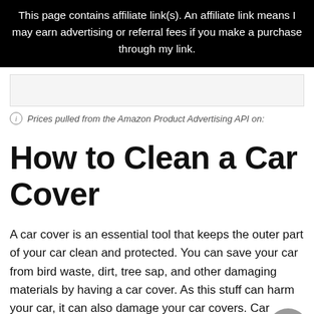This page contains affiliate link(s). An affiliate link means I may earn advertising or referral fees if you make a purchase through my link.
Prices pulled from the Amazon Product Advertising API on:
How to Clean a Car Cover
A car cover is an essential tool that keeps the outer part of your car clean and protected. You can save your car from bird waste, dirt, tree sap, and other damaging materials by having a car cover. As this stuff can harm your car, it can also damage your car covers. Car lovers oblige to clean all